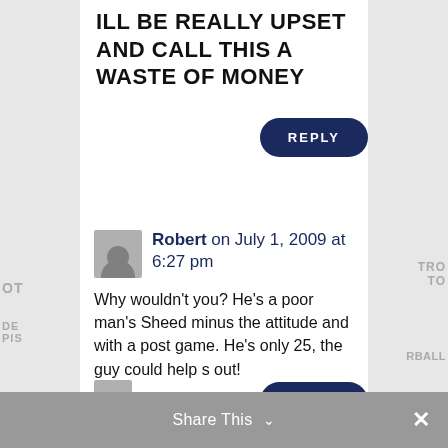ILL BE REALLY UPSET AND CALL THIS A WASTE OF MONEY
REPLY
Robert on July 1, 2009 at 6:27 pm
Why wouldn't you? He's a poor man's Sheed minus the attitude and with a post game. He's only 25, the guy could help s out!
REPLY
Share This  ×
pistons4life on July 1, 2009